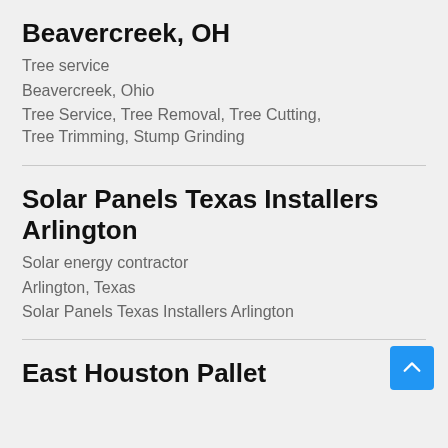Beavercreek, OH
Tree service
Beavercreek, Ohio
Tree Service, Tree Removal, Tree Cutting, Tree Trimming, Stump Grinding
Solar Panels Texas Installers Arlington
Solar energy contractor
Arlington, Texas
Solar Panels Texas Installers Arlington
East Houston Pallet